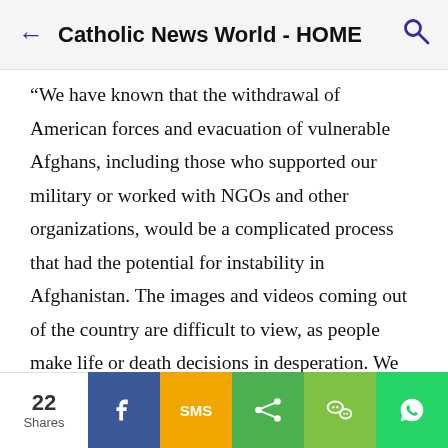Catholic News World - HOME
“We have known that the withdrawal of American forces and evacuation of vulnerable Afghans, including those who supported our military or worked with NGOs and other organizations, would be a complicated process that had the potential for instability in Afghanistan. The images and videos coming out of the country are difficult to view, as people make life or death decisions in desperation. We are particularly concerned for all those requiring evacuation, as well as Afghan women and girls, who risk losing opportunities gained over the last two decades and now face potential mistreatment.
22 Shares | Facebook | SMS | Share | WeChat | WhatsApp